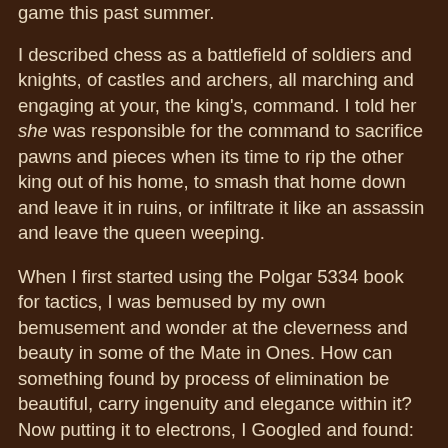game this past summer.
I described chess as a battlefield of soldiers and knights, of castles and archers, all marching and engaging at your, the king's, command. I told her she was responsible for the command to sacrifice pawns and pieces when its time to rip the other king out of his home, to smash that home down and leave it in ruins, or infiltrate it like an assassin and leave the queen weeping.
When I first started using the Polgar 5334 book for tactics, I was bemused by my own bemusement and wonder at the cleverness and beauty in some of the Mate in Ones. How can something found by process of elimination be beautiful, carry ingenuity and elegance within it? Now putting it to electrons, I Googled and found:
The scientist does not study nature because it is useful; he studies it because he delights in it, and he delights in it because it is beautiful. If nature were not beautiful, it would not be worth knowing,